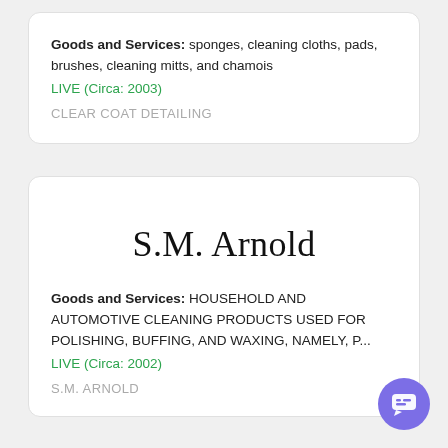Goods and Services: sponges, cleaning cloths, pads, brushes, cleaning mitts, and chamois
LIVE (Circa: 2003)
CLEAR COAT DETAILING
[Figure (other): Trademark logo text reading 'S.M. Arnold' in serif font]
Goods and Services: HOUSEHOLD AND AUTOMOTIVE CLEANING PRODUCTS USED FOR POLISHING, BUFFING, AND WAXING, NAMELY, P...
LIVE (Circa: 2002)
S.M. ARNOLD